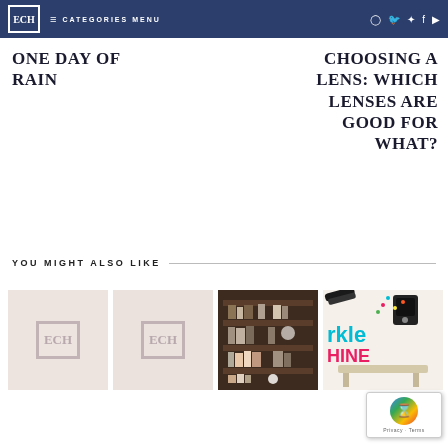ECH | CATEGORIES MENU | [social icons]
ONE DAY OF RAIN
CHOOSING A LENS: WHICH LENSES ARE GOOD FOR WHAT?
YOU MIGHT ALSO LIKE
[Figure (photo): Placeholder thumbnail with ECH logo on light pink background]
[Figure (photo): Placeholder thumbnail with ECH logo on light pink background]
[Figure (photo): Photo of a dark wooden bookshelf with books and decorative items]
[Figure (photo): Colorful image with text sparkle/shine and a decorative table]